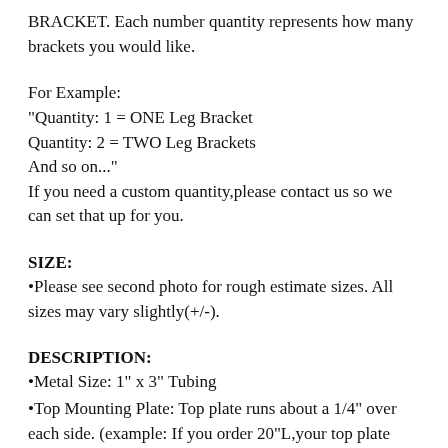BRACKET. Each number quantity represents how many brackets you would like.
For Example:
"Quantity: 1 = ONE Leg Bracket
Quantity: 2 = TWO Leg Brackets
And so on..."
If you need a custom quantity, please contact us so we can set that up for you.
SIZE:
•Please see second photo for rough estimate sizes. All sizes may vary slightly(+/-).
DESCRIPTION:
•Metal Size: 1" x 3" Tubing
•Top Mounting Plate: Top plate runs about a 1/4" over each side. (example: If you order 20"L, your top plate